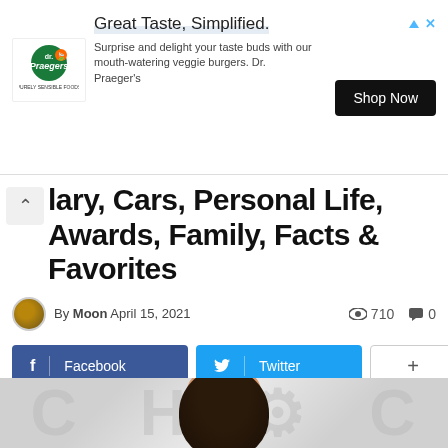[Figure (other): Advertisement banner: Dr. Praeger's logo with text 'Great Taste, Simplified.' and body copy 'Surprise and delight your taste buds with our mouth-watering veggie burgers. Dr. Praeger's' with a 'Shop Now' button]
lary, Cars, Personal Life, Awards, Family, Facts & Favorites
By Moon April 15, 2021   710   0
Facebook   Twitter   +
[Figure (photo): Partially visible photograph showing the top of a person's head with dark hair against a light grey background with faint letter/gear patterns]